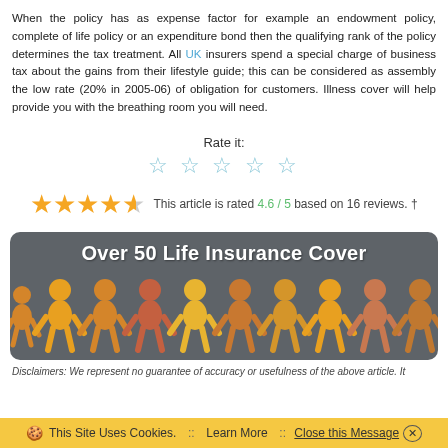When the policy has as expense factor for example an endowment policy, complete of life policy or an expenditure bond then the qualifying rank of the policy determines the tax treatment. All UK insurers spend a special charge of business tax about the gains from their lifestyle guide; this can be considered as assembly the low rate (20% in 2005-06) of obligation for customers. Illness cover will help provide you with the breathing room you will need.
Rate it:
☆ ☆ ☆ ☆ ☆
This article is rated 4.6 / 5 based on 16 reviews. †
[Figure (illustration): Banner with dark grey rounded rectangle background titled 'Over 50 Life Insurance Cover' with a row of colorful paper-doll human figures in yellow, orange, and reddish tones holding hands across the bottom.]
Disclaimers: We represent no guarantee of accuracy or usefulness of the above article. It
This Site Uses Cookies.  ::  Learn More  ::  Close this Message ✕